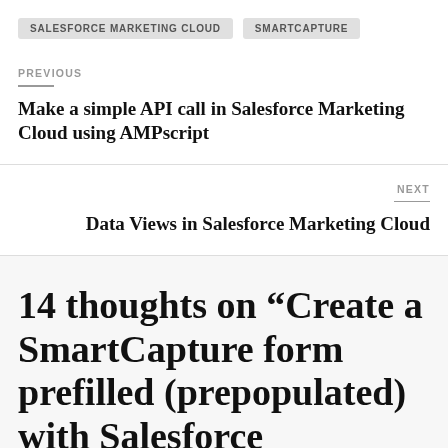SALESFORCE MARKETING CLOUD   SMARTCAPTURE
PREVIOUS
Make a simple API call in Salesforce Marketing Cloud using AMPscript
NEXT
Data Views in Salesforce Marketing Cloud
14 thoughts on “Create a SmartCapture form prefilled (prepopulated) with Salesforce